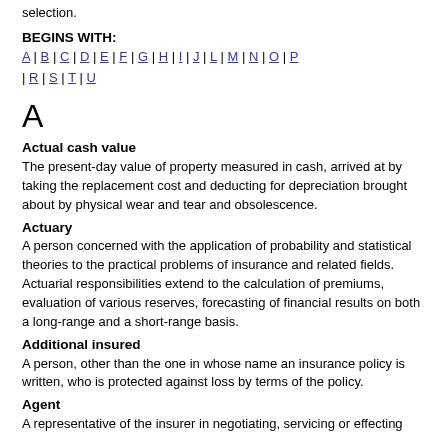selection.
BEGINS WITH:
A | B | C | D | E | F | G | H | I | J | L | M | N | O | P | R | S | T | U
A
Actual cash value
The present-day value of property measured in cash, arrived at by taking the replacement cost and deducting for depreciation brought about by physical wear and tear and obsolescence.
Actuary
A person concerned with the application of probability and statistical theories to the practical problems of insurance and related fields. Actuarial responsibilities extend to the calculation of premiums, evaluation of various reserves, forecasting of financial results on both a long-range and a short-range basis.
Additional insured
A person, other than the one in whose name an insurance policy is written, who is protected against loss by terms of the policy.
Agent
A representative of the insurer in negotiating, servicing or effecting